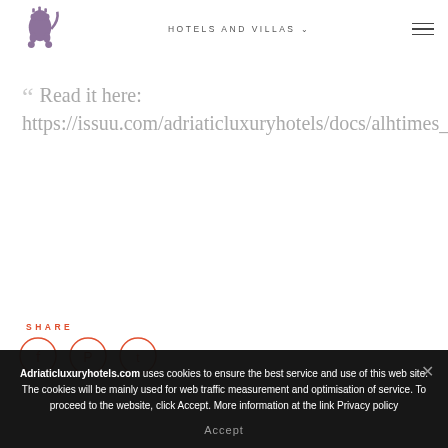HOTELS AND VILLAS
Read it here: https://issuu.com/adriaticluxuryhotels/docs/alhtimes_2019_web
SHARE
[Figure (infographic): Three social media icon circles (Facebook, Pinterest, Twitter) in orange/red outline style]
Adriaticluxuryhotels.com uses cookies to ensure the best service and use of this web site. The cookies will be mainly used for web traffic measurement and optimisation of service. To proceed to the website, click Accept. More information at the link Privacy policy
Accept